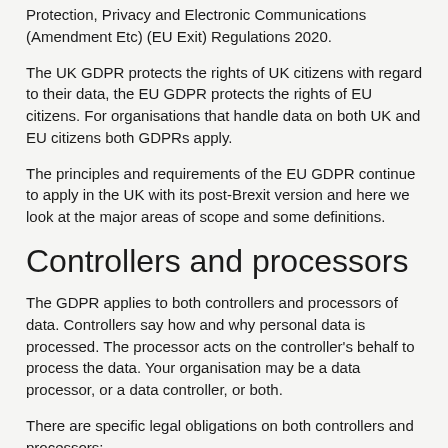Protection, Privacy and Electronic Communications (Amendment Etc) (EU Exit) Regulations 2020.
The UK GDPR protects the rights of UK citizens with regard to their data, the EU GDPR protects the rights of EU citizens. For organisations that handle data on both UK and EU citizens both GDPRs apply.
The principles and requirements of the EU GDPR continue to apply in the UK with its post-Brexit version and here we look at the major areas of scope and some definitions.
Controllers and processors
The GDPR applies to both controllers and processors of data. Controllers say how and why personal data is processed. The processor acts on the controller's behalf to process the data. Your organisation may be a data processor, or a data controller, or both.
There are specific legal obligations on both controllers and processors: